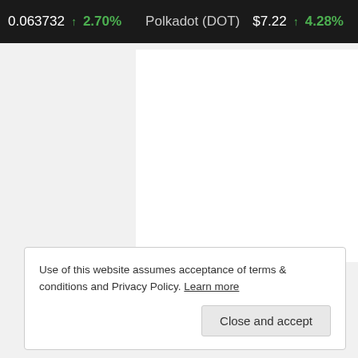0.063732 ↑2.70% Polkadot (DOT) $7.22 ↑4.28% Sh
[Figure (screenshot): White content panel area on gray background]
Use of this website assumes acceptance of terms & conditions and Privacy Policy. Learn more
Close and accept